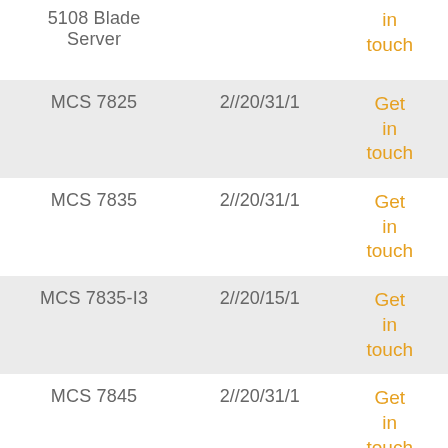| Model | Spec | Action |
| --- | --- | --- |
| 5108 Blade Server |  | Get in touch |
| MCS 7825 | 2//20/31/1 | Get in touch |
| MCS 7835 | 2//20/31/1 | Get in touch |
| MCS 7835-I3 | 2//20/15/1 | Get in touch |
| MCS 7845 | 2//20/31/1 | Get in touch |
| MDS 9000 | 4//20/30/O | Get in touch |